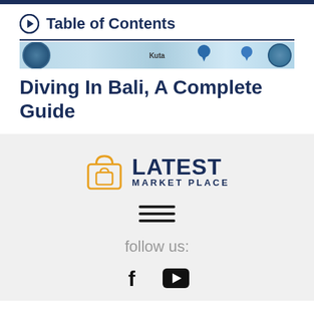Table of Contents
[Figure (map): Partial map banner showing a circular emblem on the left, 'Kuta' label in the center, and location pins on the right]
Diving In Bali, A Complete Guide
[Figure (logo): Latest Market Place logo with orange shopping bag icon and dark navy text reading LATEST MARKET PLACE]
[Figure (other): Hamburger menu icon with three horizontal lines]
follow us:
[Figure (other): Social media icons: Facebook (f) and YouTube (play button rectangle)]